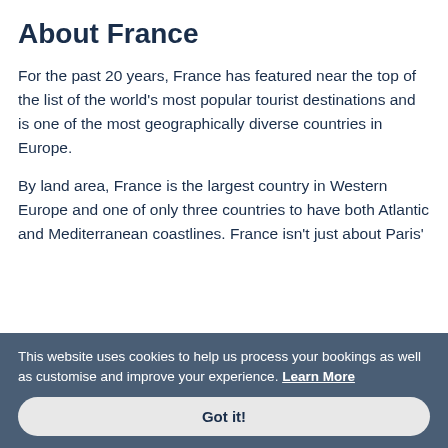About France
For the past 20 years, France has featured near the top of the list of the world’s most popular tourist destinations and is one of the most geographically diverse countries in Europe.
By land area, France is the largest country in Western Europe and one of only three countries to have both Atlantic and Mediterranean coastlines. France isn’t just about Paris’ iconic Eiffel Tower or the famous smile of Mona Lisa; even the gorgeous villages in the countryside, splendid lavender fields and vineyards [continues]
This website uses cookies to help us process your bookings as well as customise and improve your experience. Learn More
Got it!